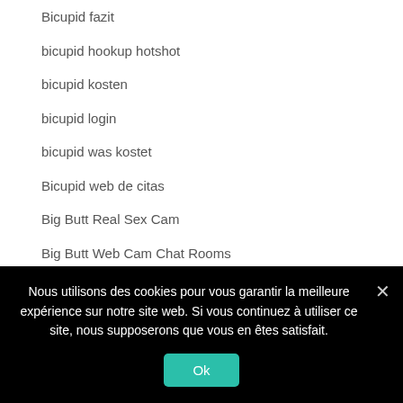Bicupid fazit
bicupid hookup hotshot
bicupid kosten
bicupid login
bicupid was kostet
Bicupid web de citas
Big Butt Real Sex Cam
Big Butt Web Cam Chat Rooms
Big Butt Webcam Live
Big Butt XXX Chat
Nous utilisons des cookies pour vous garantir la meilleure expérience sur notre site web. Si vous continuez à utiliser ce site, nous supposerons que vous en êtes satisfait.